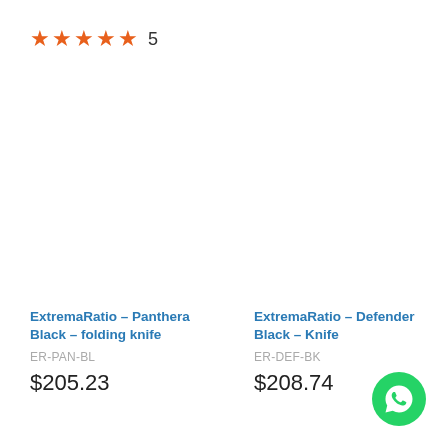★★★★★ 5
ExtremaRatio - Panthera Black - folding knife
ER-PAN-BL
$205.23
ExtremaRatio - Defender Black - Knife
ER-DEF-BK
$208.74
[Figure (logo): WhatsApp floating button icon]